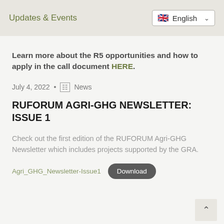Updates & Events
Learn more about the R5 opportunities and how to apply in the call document HERE.
July 4, 2022 • News
RUFORUM AGRI-GHG NEWSLETTER: ISSUE 1
Check out the first edition of the RUFORUM Agri-GHG Newsletter which includes projects supported by the GRA.
Agri_GHG_Newsletter-Issue1   Download